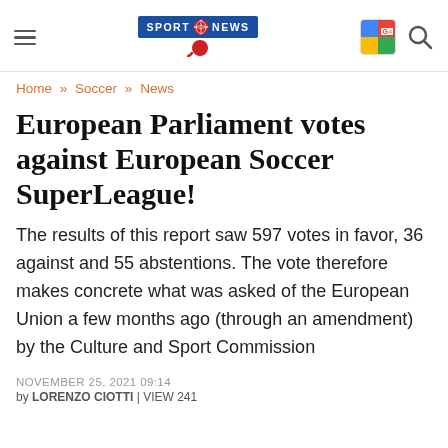Sport World News
Home » Soccer » News
European Parliament votes against European Soccer SuperLeague!
The results of this report saw 597 votes in favor, 36 against and 55 abstentions. The vote therefore makes concrete what was asked of the European Union a few months ago (through an amendment) by the Culture and Sport Commission
NOVEMBER 25, 2021 09:14
by LORENZO CIOTTI | VIEW 241